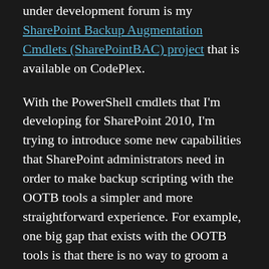under development forum is my SharePoint Backup Augmentation Cmdlets (SharePointBAC) project that is available on CodePlex.
With the PowerShell cmdlets that I'm developing for SharePoint 2010, I'm trying to introduce some new capabilities that SharePoint administrators need in order to make backup scripting with the OOTB tools a simpler and more straightforward experience. For example, one big gap that exists with the OOTB tools is that there is no way to groom a backup set. Each backup you create using Backup-SPFarm, for instance, adds to the backups that existed before it. There's no way to groom (or remove) older backups you no